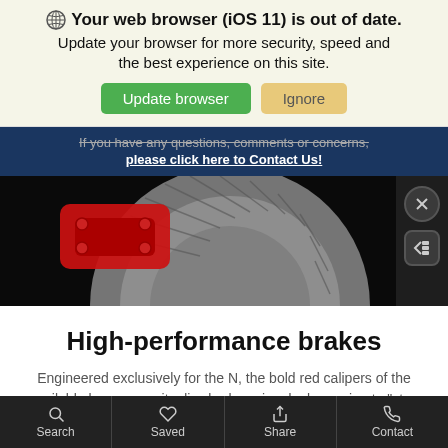🌐 Your web browser (iOS 11) is out of date. Update your browser for more security, speed and the best experience on this site.
Update browser | Ignore
If you have any questions, comments or concerns, please click here to Contact Us!
[Figure (photo): Close-up of a red brake caliper on a silver disc rotor against a dark background]
High-performance brakes
Engineered exclusively for the N, the bold red calipers of the available large-capacity disc brakes give dual meaning to "stop you in your tracks." Combined with the high-performance brake pads, the available 13.6-inch front and 12.4-inch rear rotors are sized for intense braking performance.
Search   Saved   Share   Contact